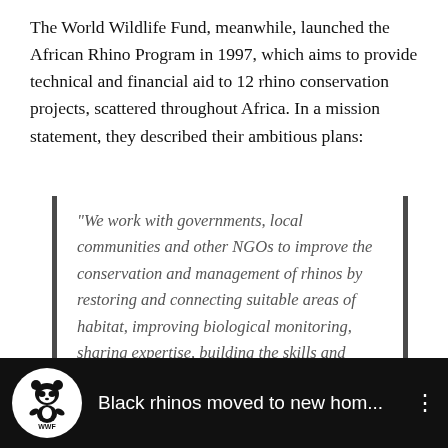The World Wildlife Fund, meanwhile, launched the African Rhino Program in 1997, which aims to provide technical and financial aid to 12 rhino conservation projects, scattered throughout Africa. In a mission statement, they described their ambitious plans:
“We work with governments, local communities and other NGOs to improve the conservation and management of rhinos by restoring and connecting suitable areas of habitat, improving biological monitoring, sharing expertise, building the skills and capacity of people working with rhinos.”
[Figure (screenshot): WWF video thumbnail showing black WWF panda logo on white circle against black background with text 'Black rhinos moved to new hom...' and three-dot menu icon]